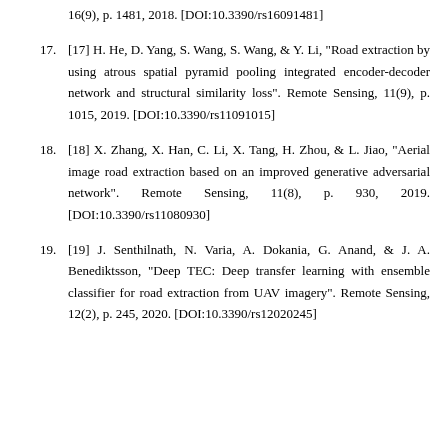16(9), p. 1481, 2018. [DOI:10.3390/rs16091481]
17. [17] H. He, D. Yang, S. Wang, S. Wang, & Y. Li, "Road extraction by using atrous spatial pyramid pooling integrated encoder-decoder network and structural similarity loss". Remote Sensing, 11(9), p. 1015, 2019. [DOI:10.3390/rs11091015]
18. [18] X. Zhang, X. Han, C. Li, X. Tang, H. Zhou, & L. Jiao, "Aerial image road extraction based on an improved generative adversarial network". Remote Sensing, 11(8), p. 930, 2019. [DOI:10.3390/rs11080930]
19. [19] J. Senthilnath, N. Varia, A. Dokania, G. Anand, & J. A. Benediktsson, "Deep TEC: Deep transfer learning with ensemble classifier for road extraction from UAV imagery". Remote Sensing, 12(2), p. 245, 2020. [DOI:10.3390/rs12020245]